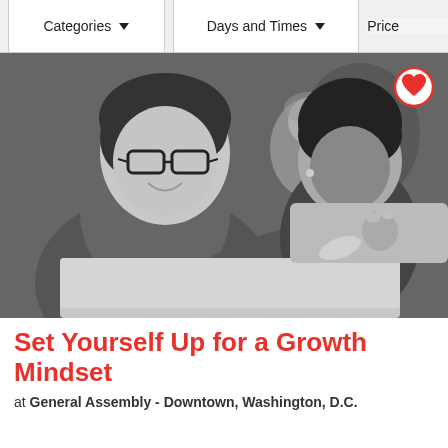Categories   Days and Times   Price
[Figure (photo): Black and white photo of students working on a laptop in a classroom. A young man with glasses is pointing at a laptop screen, a woman beside him looks on, and another student is visible in the background.]
Set Yourself Up for a Growth Mindset
at General Assembly - Downtown, Washington, D.C.